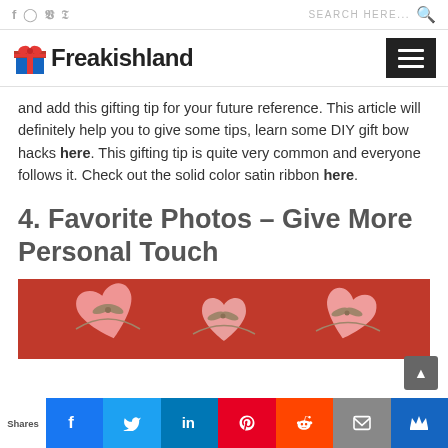f  ig  tw  p   SEARCH HERE...  🔍
[Figure (logo): Freakishland logo with gift box icon and hamburger menu button]
and add this gifting tip for your future reference. This article will definitely help you to give some tips, learn some DIY gift bow hacks here. This gifting tip is quite very common and everyone follows it. Check out the solid color satin ribbon here.
4. Favorite Photos – Give More Personal Touch
[Figure (photo): Pink heart-shaped gift boxes on red background]
Shares | Facebook | Twitter | LinkedIn | Pinterest | Reddit | Email | Crown